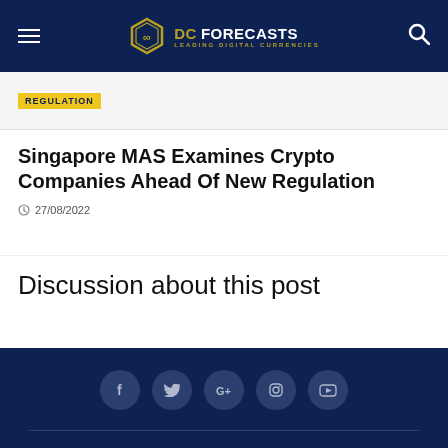DC FORECASTS — LEADING DIGITAL CURRENCIES
REGULATION
Singapore MAS Examines Crypto Companies Ahead Of New Regulation
27/08/2022
Discussion about this post
Social icons: Facebook, Twitter, Google+, Instagram, YouTube